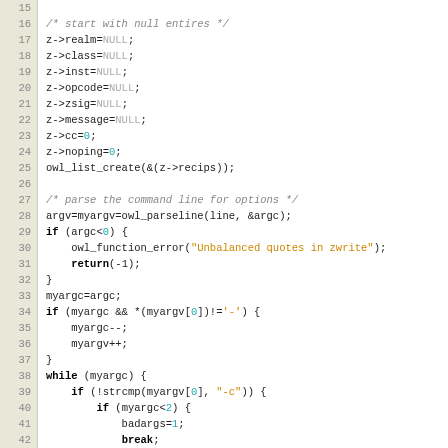[Figure (screenshot): Source code listing lines 15-46 of a C program showing zwrite function initialization and argument parsing logic]